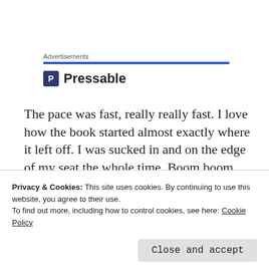Advertisements
[Figure (logo): Pressable logo with dark blue square 'P' icon and bold text 'Pressable']
The pace was fast, really really fast. I love how the book started almost exactly where it left off. I was sucked in and on the edge of my seat the whole time. Boom boom boom! It never slowed down. There was maybe two or three “semi-
Privacy & Cookies: This site uses cookies. By continuing to use this website, you agree to their use. To find out more, including how to control cookies, see here: Cookie Policy
didn’t end with a bang, but with something more